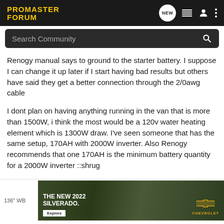PROMASTER FORUM
Renogy manual says to ground to the starter battery. I suppose I can change it up later if I start having bad results but others have said they get a better connection through the 2/0awg cable
I dont plan on having anything running in the van that is more than 1500W, i think the most would be a 120v water heating element which is 1300W draw. I've seen someone that has the same setup, 170AH with 2000W inverter. Also Renogy recommends that one 170AH is the minimum battery quantity for a 2000W inverter ::shrug
[Figure (screenshot): Advertisement banner for The New 2022 Silverado by Chevrolet with Explore button and truck image on dark green background]